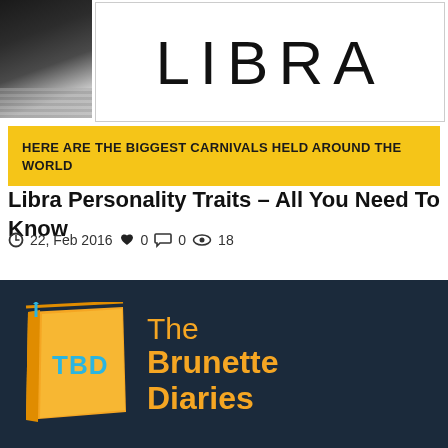[Figure (photo): Thumbnail image of a dark bedroom scene with striped bedding, partially visible]
LIBRA
HERE ARE THE BIGGEST CARNIVALS HELD AROUND THE WORLD
Libra Personality Traits – All You Need To Know
22, Feb 2016  ♥ 0  💬 0  👁 18
[Figure (logo): The Brunette Diaries logo - orange book with TBD text and orange cursive/handwritten text saying The Brunette Diaries on dark navy background]